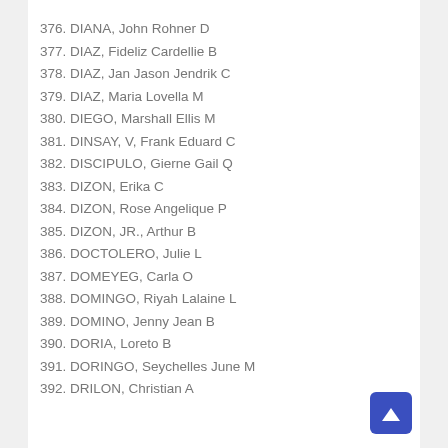376. DIANA, John Rohner D
377. DIAZ, Fideliz Cardellie B
378. DIAZ, Jan Jason Jendrik C
379. DIAZ, Maria Lovella M
380. DIEGO, Marshall Ellis M
381. DINSAY, V, Frank Eduard C
382. DISCIPULO, Gierne Gail Q
383. DIZON, Erika C
384. DIZON, Rose Angelique P
385. DIZON, JR., Arthur B
386. DOCTOLERO, Julie L
387. DOMEYEG, Carla O
388. DOMINGO, Riyah Lalaine L
389. DOMINO, Jenny Jean B
390. DORIA, Loreto B
391. DORINGO, Seychelles June M
392. DRILON, Christian A